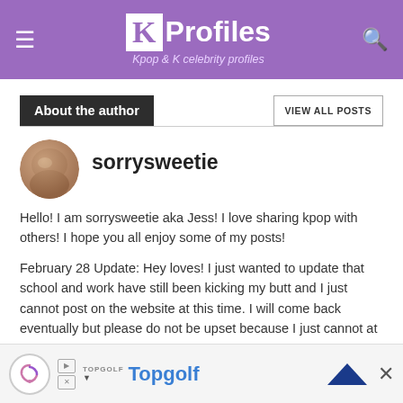KProfiles – Kpop & K celebrity profiles
About the author
VIEW ALL POSTS
sorrysweetie
Hello! I am sorrysweetie aka Jess! I love sharing kpop with others! I hope you all enjoy some of my posts!
February 28 Update: Hey loves! I just wanted to update that school and work have still been kicking my butt and I just cannot post on the website at this time. I will come back eventually but please do not be upset because I just cannot at this time. I love you all and trust me I
[Figure (other): Advertisement banner for Topgolf with logo and close button]